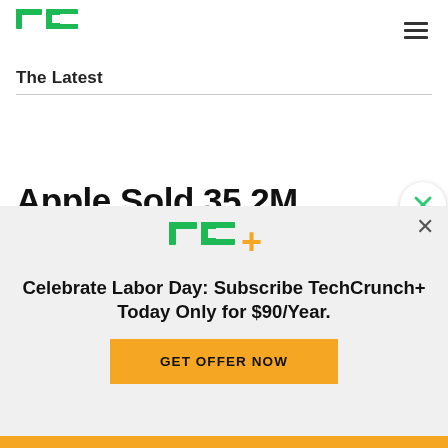TechCrunch
The Latest
Apple Sold 35.2M iPhones, 13.3M iPads And 4.4M Macs In Q3 2014
Celebrate Labor Day: Subscribe TechCrunch+ Today Only for $90/Year.
GET OFFER NOW